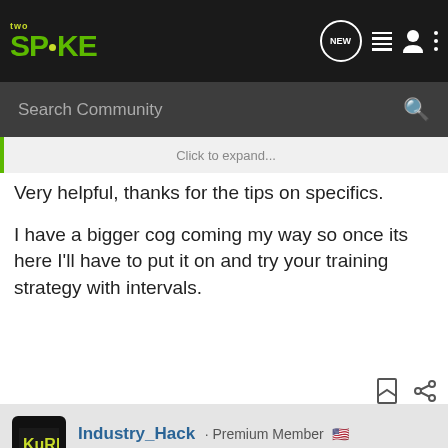two SPOKE — NEW — navigation icons
Search Community
Click to expand...
Very helpful, thanks for the tips on specifics.

I have a bigger cog coming my way so once its here I'll have to put it on and try your training strategy with intervals.
Industry_Hack · Premium Member 🇺🇸
Joined Aug 14, 2009 · 12,354 Posts
#16 · Jan 4, 2010
[Figure (infographic): Advertisement banner: YOUR NEW FAVORITE SPORT — EXPLORE HOW TO RESPONSIBLY PARTICIPATE IN THE SHOOTING SPORTS. START HERE!]
Rhyth